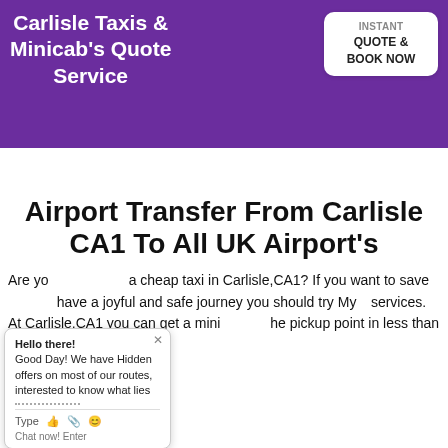Carlisle Taxis & Minicab's Quote Service
Airport Transfer From Carlisle CA1 To All UK Airport's
Are you looking for a cheap taxi in Carlisle,CA1? If you want to save money, have a joyful and safe journey you should try My... services. At Carlisle,CA1 you can get a mini cab at the pickup point in less than 5 minutes, always at the
[Figure (screenshot): Live chat popup widget showing 'Hello there! Good Day! We have Hidden offers on most of our routes, interested to know what lies...' with a chat input bar and emoji icons]
[Figure (screenshot): Blue Chat button with notification badge showing number 1 at bottom left of page]